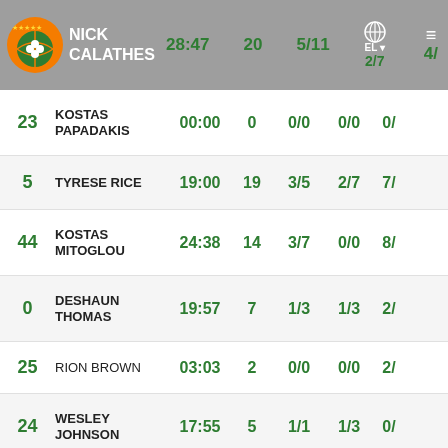Nick Calathes | 28:47 | 20 | 5/11 | EL 2/7 | 4/
| # | Name | Time | Pts | FG | 3P | FT |
| --- | --- | --- | --- | --- | --- | --- |
| 23 | KOSTAS PAPADAKIS | 00:00 | 0 | 0/0 | 0/0 | 0/ |
| 5 | TYRESE RICE | 19:00 | 19 | 3/5 | 2/7 | 7/ |
| 44 | KOSTAS MITOGLOU | 24:38 | 14 | 3/7 | 0/0 | 8/ |
| 0 | DESHAUN THOMAS | 19:57 | 7 | 1/3 | 1/3 | 2/ |
| 25 | RION BROWN | 03:03 | 2 | 0/0 | 0/0 | 2/ |
| 24 | WESLEY JOHNSON | 17:55 | 5 | 1/1 | 1/3 | 0/ |
| 32 | JIMMER FREDETTE | 16:16 | 10 | 2/2 | 1/2 | 3/ |